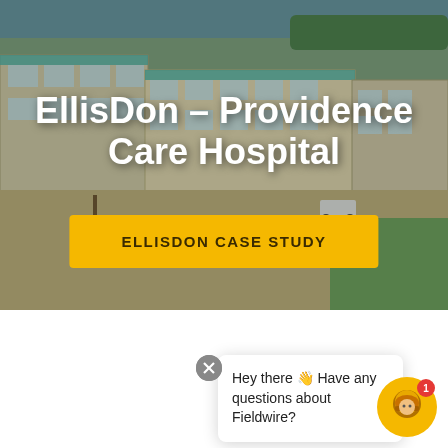[Figure (photo): Aerial/elevated photo of Providence Care Hospital construction site showing multi-story building under construction with equipment and cleared land around it]
EllisDon – Providence Care Hospital
ELLISDON CASE STUDY
EllisDon – Providence Care Hospital
Hey there 👋 Have any questions about Fieldwire?